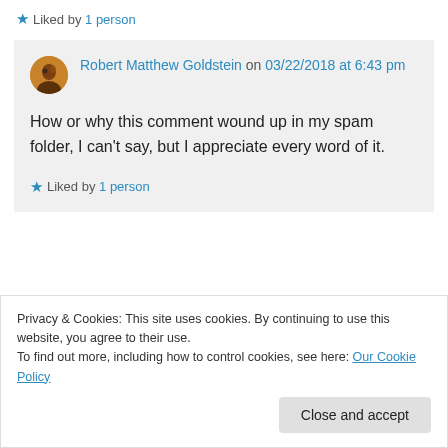★ Liked by 1 person
Robert Matthew Goldstein on 03/22/2018 at 6:43 pm
How or why this comment wound up in my spam folder, I can't say, but I appreciate every word of it.
★ Liked by 1 person
Privacy & Cookies: This site uses cookies. By continuing to use this website, you agree to their use.
To find out more, including how to control cookies, see here: Our Cookie Policy